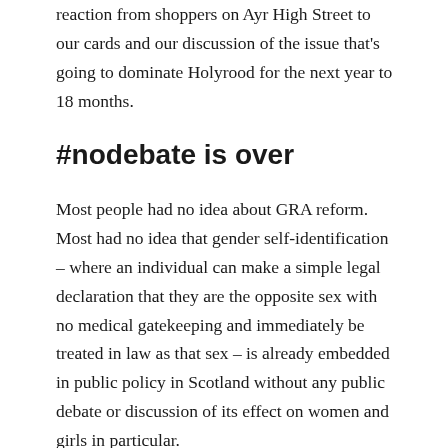reaction from shoppers on Ayr High Street to our cards and our discussion of the issue that's going to dominate Holyrood for the next year to 18 months.
#nodebate is over
Most people had no idea about GRA reform. Most had no idea that gender self-identification – where an individual can make a simple legal declaration that they are the opposite sex with no medical gatekeeping and immediately be treated in law as that sex – is already embedded in public policy in Scotland without any public debate or discussion of its effect on women and girls in particular.
Few were impressed at the news that First Minister Nicola Sturgeon dismissed concerns about GRA reform